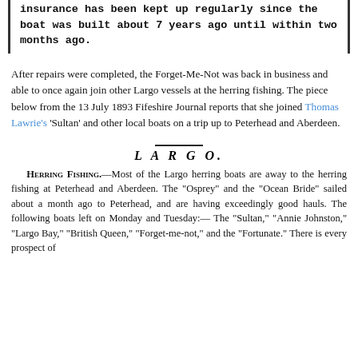insurance has been kept up regularly since the boat was built about 7 years ago until within two months ago.
After repairs were completed, the Forget-Me-Not was back in business and able to once again join other Largo vessels at the herring fishing. The piece below from the 13 July 1893 Fifeshire Journal reports that she joined Thomas Lawrie's 'Sultan' and other local boats on a trip up to Peterhead and Aberdeen.
[Figure (other): Newspaper clipping from the Fifeshire Journal dated 13 July 1893, titled LARGO, with a section on Herring Fishing describing Largo herring boats travelling to Peterhead and Aberdeen.]